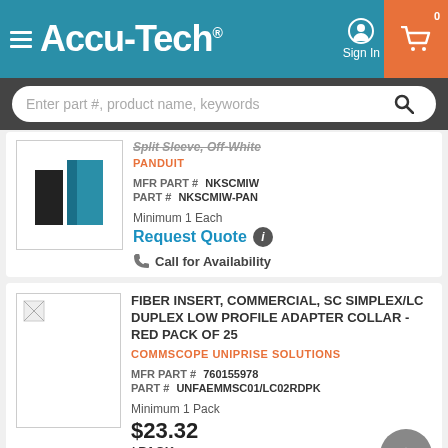Accu-Tech
Enter part #, product name, keywords
Split Sleeve, Off-White
PANDUIT
MFR PART # NKSCMIW
PART # NKSCMIW-PAN
Minimum 1 Each
Request Quote
Call for Availability
FIBER INSERT, COMMERCIAL, SC SIMPLEX/LC DUPLEX LOW PROFILE ADAPTER COLLAR - RED PACK OF 25
COMMSCOPE UNIPRISE SOLUTIONS
MFR PART # 760155978
PART # UNFAEMMSC01/LC02RDPK
Minimum 1 Pack
$23.32 / PACK
Call for Availability